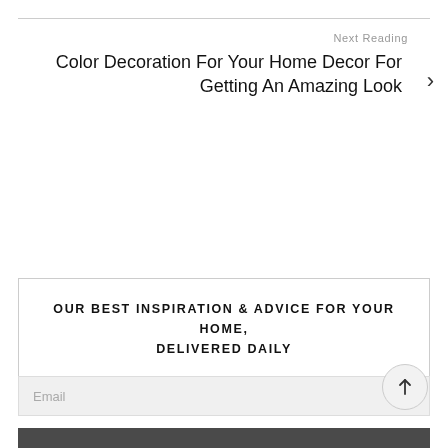Next Reading
Color Decoration For Your Home Decor For Getting An Amazing Look
OUR BEST INSPIRATION & ADVICE FOR YOUR HOME, DELIVERED DAILY
Email